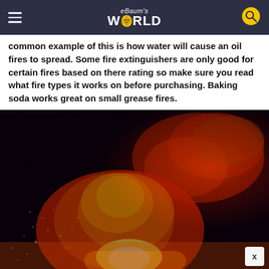eBaum's WORLD
common example of this is how water will cause an oil fires to spread. Some fire extinguishers are only good for certain fires based on there rating so make sure you read what fire types it works on before purchasing. Baking soda works great on small grease fires.
[Figure (photo): A dramatic close-up photograph of a large fire/explosion with red, orange, and yellow flames and embers against a dark black background.]